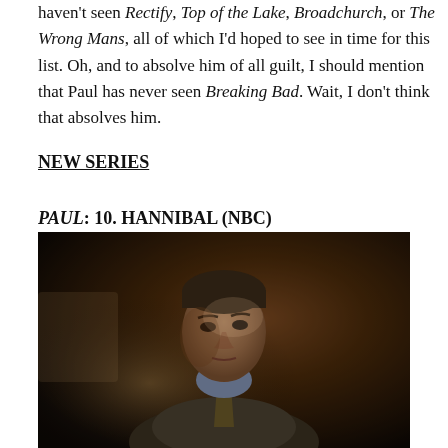haven't seen Rectify, Top of the Lake, Broadchurch, or The Wrong Mans, all of which I'd hoped to see in time for this list. Oh, and to absolve him of all guilt, I should mention that Paul has never seen Breaking Bad. Wait, I don't think that absolves him.
NEW SERIES
PAUL: 10. HANNIBAL (NBC)
[Figure (photo): A man in a suit looking upward, lit dramatically against a dark background — promotional still from the TV show Hannibal]